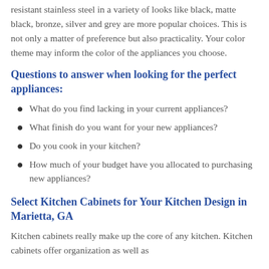resistant stainless steel in a variety of looks like black, matte black, bronze, silver and grey are more popular choices. This is not only a matter of preference but also practicality. Your color theme may inform the color of the appliances you choose.
Questions to answer when looking for the perfect appliances:
What do you find lacking in your current appliances?
What finish do you want for your new appliances?
Do you cook in your kitchen?
How much of your budget have you allocated to purchasing new appliances?
Select Kitchen Cabinets for Your Kitchen Design in Marietta, GA
Kitchen cabinets really make up the core of any kitchen. Kitchen cabinets offer organization as well as